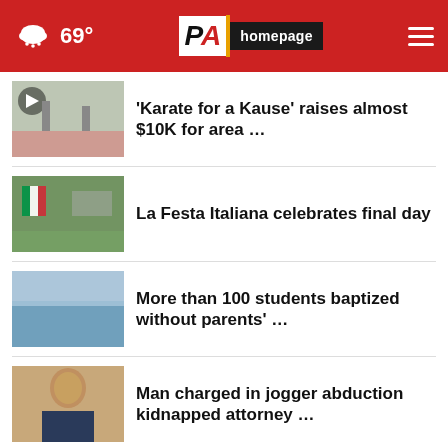PA Homepage — 69° weather, navigation header
'Karate for a Kause' raises almost $10K for area …
La Festa Italiana celebrates final day
More than 100 students baptized without parents' …
Man charged in jogger abduction kidnapped attorney …
Wolf secured after escaping habitat at Cleveland …
More Stories ›